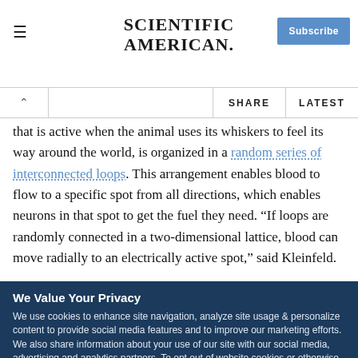SCIENTIFIC AMERICAN
that is active when the animal uses its whiskers to feel its way around the world, is organized in a random series of interconnected loops. This arrangement enables blood to flow to a specific spot from all directions, which enables neurons in that spot to get the fuel they need. “If loops are randomly connected in a two-dimensional lattice, blood can move radially to an electrically active spot,” said Kleinfeld.
We Value Your Privacy
We use cookies to enhance site navigation, analyze site usage & personalize content to provide social media features and to improve our marketing efforts. We also share information about your use of our site with our social media, advertising and analytics partners. To opt out of website cookies or otherwise manage your cookie settings, click on Cookie Settings. View O…